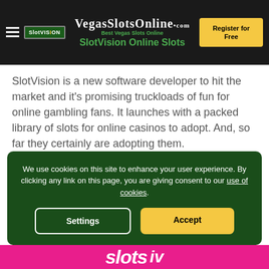VegasSlotsOnline.com | SlotVision Online Slots | Register for Free
SlotVision is a new software developer to hit the market and it's promising truckloads of fun for online gambling fans. It launches with a packed library of slots for online casinos to adopt. And, so far they certainly are adopting them.
Read More
Rate this page ★★★★★ (1 votes)
We use cookies on this site to enhance your user experience. By clicking any link on this page, you are giving consent to our use of cookies.